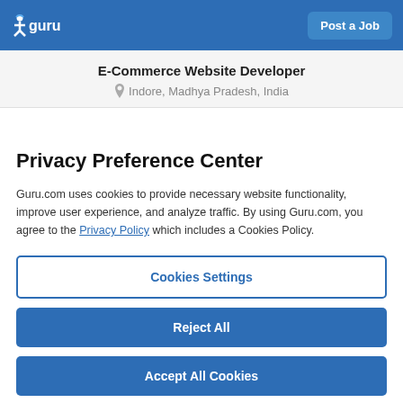guru | Post a Job
E-Commerce Website Developer
Indore, Madhya Pradesh, India
Privacy Preference Center
Guru.com uses cookies to provide necessary website functionality, improve user experience, and analyze traffic. By using Guru.com, you agree to the Privacy Policy which includes a Cookies Policy.
Cookies Settings
Reject All
Accept All Cookies